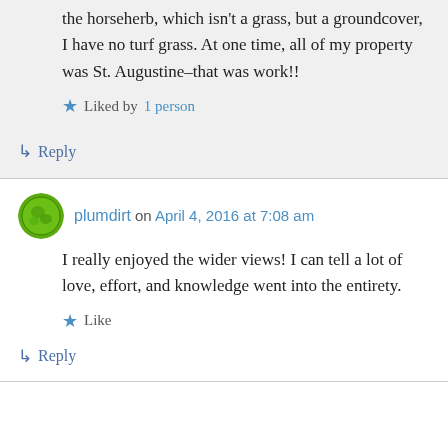what I grow seeds out. And yes, other than the horseherb, which isn't a grass, but a groundcover, I have no turf grass. At one time, all of my property was St. Augustine–that was work!!
Liked by 1 person
↳ Reply
plumdirt on April 4, 2016 at 7:08 am
I really enjoyed the wider views! I can tell a lot of love, effort, and knowledge went into the entirety.
Like
↳ Reply